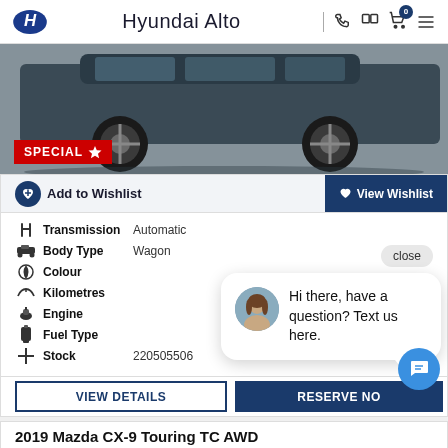Hyundai Alto
[Figure (photo): Side view of a dark grey Hyundai SUV/wagon with a SPECIAL badge in the bottom left corner]
Add to Wishlist | View Wishlist
| Field | Value |
| --- | --- |
| Transmission | Automatic |
| Body Type | Wagon |
| Colour |  |
| Kilometres |  |
| Engine |  |
| Fuel Type |  |
| Stock | 220505506 |
Hi there, have a question? Text us here.
VIEW DETAILS | RESERVE NOW
2019 Mazda CX-9 Touring TC AWD